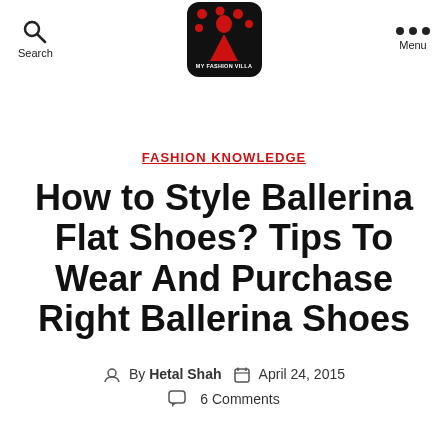Search | MY FASHION VILLA | Menu
FASHION KNOWLEDGE
How to Style Ballerina Flat Shoes? Tips To Wear And Purchase Right Ballerina Shoes
By Hetal Shah   April 24, 2015
6 Comments